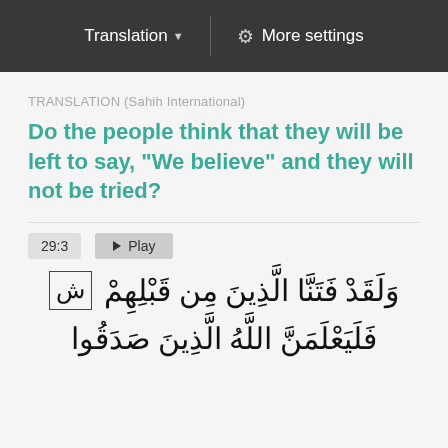Translation ▼ | ⚙ More settings
TRANSLATION (Sahih International)
Do the people think that they will be left to say, "We believe" and they will not be tried?
29:3  ▶ Play
وَلَقَدْ فَتَنَّا الَّذِينَ مِن قَبْلِهِمْ ش
فَلَيَعْلَمَنَّ اللَّهُ الَّذِينَ صَدَقُوا